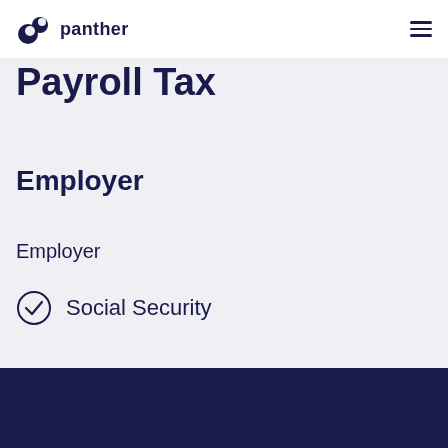panther
Payroll Tax
Employer
Employer
Social Security